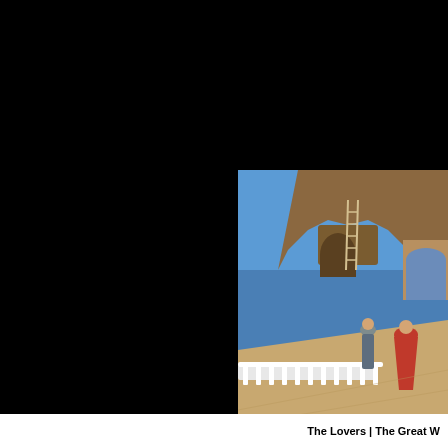[Figure (photo): Outdoor photograph showing a rocky cliff or cave dwelling site with a white balustrade walkway in the foreground. Two people are visible on the path — one in a red cloak and one in lighter clothing. A wooden ladder leans against the rock face. The sky is blue. The setting appears to be the Great Wall of China or similar historic site.]
The Lovers | The Great W